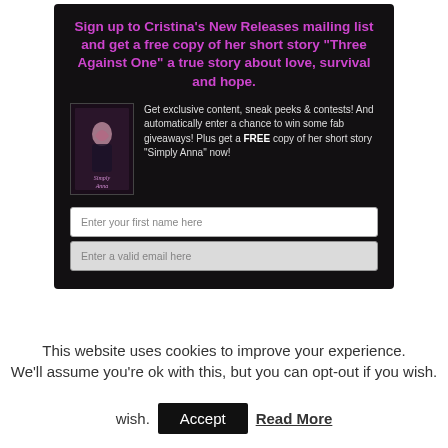[Figure (other): Dark promotional banner with magenta/pink bold heading and book cover image for 'Simply Anna', with text about newsletter signup and two form fields.]
This website uses cookies to improve your experience. We'll assume you're ok with this, but you can opt-out if you wish.
Accept   Read More